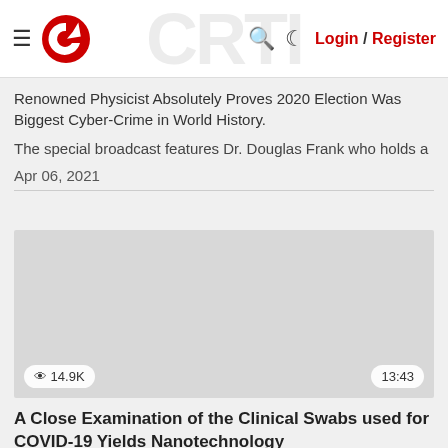≡ [logo] Login / Register
Renowned Physicist Absolutely Proves 2020 Election Was Biggest Cyber-Crime in World History.
The special broadcast features Dr. Douglas Frank who holds a
Apr 06, 2021
[Figure (other): Video thumbnail placeholder, gray background, view count 14.9K and duration 13:43]
A Close Examination of the Clinical Swabs used for COVID-19 Yields Nanotechnology